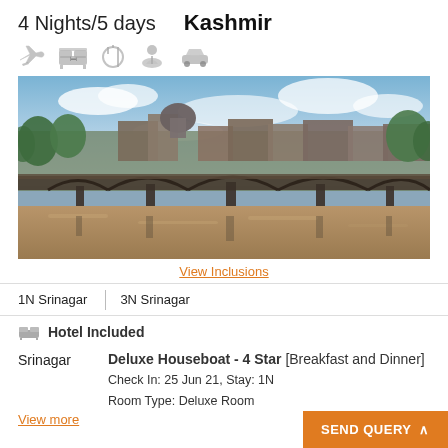4 Nights/5 days  Kashmir
[Figure (illustration): Row of travel icons: airplane, hotel/bed, dining, sightseeing/beach, car]
[Figure (photo): A scenic view of a bridge over a river in Kashmir (Srinagar) with old buildings and a domed structure in the background under a partly cloudy sky.]
View Inclusions
1N Srinagar   3N Srinagar
Hotel Included
Srinagar   Deluxe Houseboat - 4 Star [Breakfast and Dinner]
Check In: 25 Jun 21, Stay: 1N
Room Type: Deluxe Room
View more